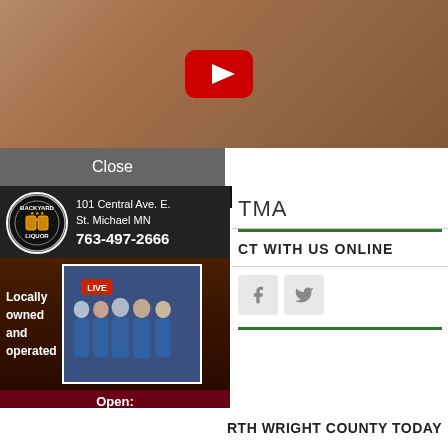[Figure (screenshot): YouTube video thumbnail showing two people outdoors with a red YouTube play button overlay]
Close
[Figure (photo): Backyard Liquor advertisement: 101 Central Ave. E., St. Michael MN, 763-497-2666, Locally owned and operated, Open: Mon.–Sat. 10am–10pm, Sunday 11am–6pm, backyardliquor.com, Follow us on Facebook]
TMA
CT WITH US ONLINE
[Figure (other): Facebook and Twitter social media icons]
RTH WRIGHT COUNTY TODAY